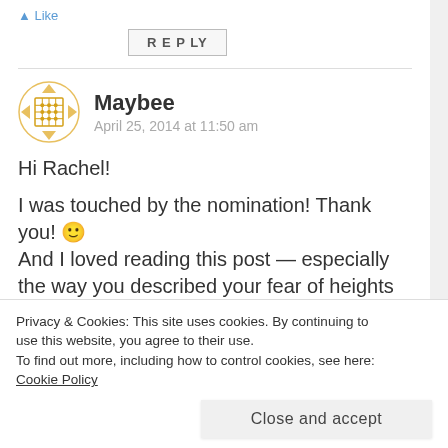REPLY
Maybee
April 25, 2014 at 11:50 am
Hi Rachel!

I was touched by the nomination! Thank you! 🙂 And I loved reading this post — especially the way you described your fear of heights and that snot incident! Ha!
I know I'm very late, but here's my response:
Privacy & Cookies: This site uses cookies. By continuing to use this website, you agree to their use.
To find out more, including how to control cookies, see here: Cookie Policy
Close and accept